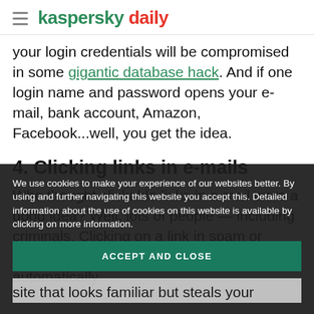kaspersky daily
your login credentials will be compromised in some gigantic database hack. And if one login name and password opens your e-mail, bank account, Amazon, Facebook...well, you get the idea.
4. Clicking links in e-mails
Who thought clickable links in e-mail were a good idea? Well, lots of people — including criminals. Clicking on a link in spam or phishing e-mail may take you to a site that automatically
We use cookies to make your experience of our websites better. By using and further navigating this website you accept this. Detailed information about the use of cookies on this website is available by clicking on more information.
ACCEPT AND CLOSE
site that looks familiar but steals your